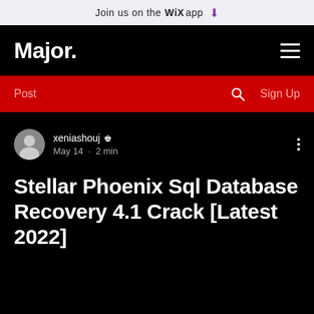Join us on the WiX app ⬇
Major.
Post   🔍   Sign Up
xeniashouj 👑
May 14 · 2 min
Stellar Phoenix Sql Database Recovery 4.1 Crack [Latest 2022]